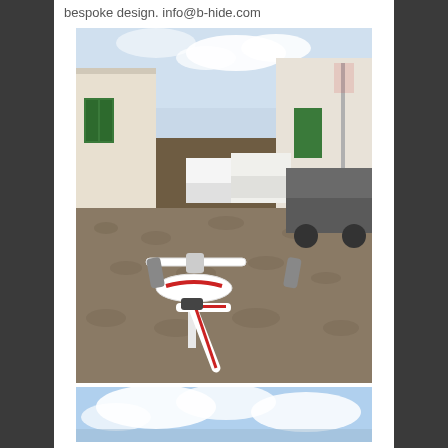bespoke design. info@b-hide.com
[Figure (photo): A white road bike with red accents photographed from behind, showing the saddle and handlebars, on a cobblestone street in a small white-washed village with green doors and parked vehicles in the background.]
[Figure (photo): Partial view of a second photo showing blue sky with clouds at the bottom edge of the page.]